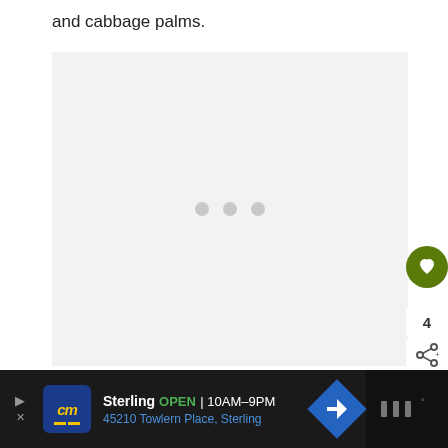and cabbage palms.
[Figure (photo): Loading placeholder box with three gray dots in the center, indicating an image is loading]
[Figure (other): UI overlay with olive green heart/like button, like count '4', and a share button]
[Figure (other): Advertisement bar at bottom: cm logo, Sterling OPEN 10AM-9PM, 45210 Towlern Place, Sterling, navigation icon, and dark right panel]